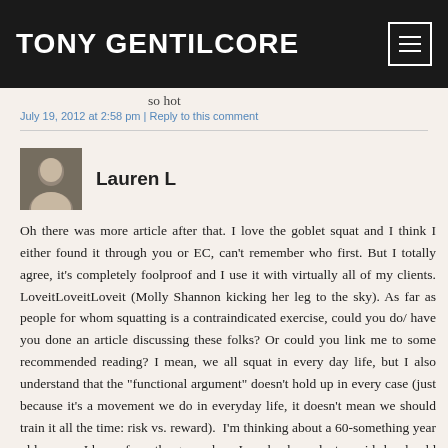TONY GENTILCORE
so hot
July 19, 2012 at 2:58 pm | Reply to this comment
Lauren L
Oh there was more article after that. I love the goblet squat and I think I either found it through you or EC, can't remember who first. But I totally agree, it's completely foolproof and I use it with virtually all of my clients. LoveitLoveitLoveit (Molly Shannon kicking her leg to the sky). As far as people for whom squatting is a contraindicated exercise, could you do/ have you done an article discussing these folks? Or could you link me to some recommended reading? I mean, we all squat in every day life, but I also understand that the "functional argument" doesn't hold up in every case (just because it's a movement we do in everyday life, it doesn't mean we should train it all the time: risk vs. reward).  I'm thinking about a 60-something year old woman I know from the gym where I work whose doctor said she should never do